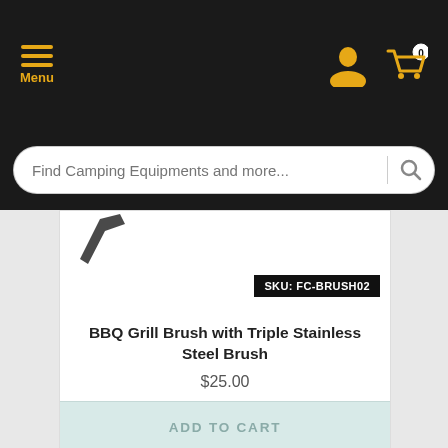Menu | User icon | Cart (0)
Find Camping Equipments and more...
SKU: FC-BRUSH02
BBQ Grill Brush with Triple Stainless Steel Brush
$25.00
ADD TO CART